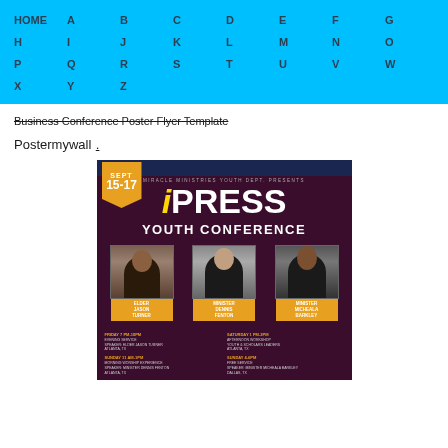HOME A B C D E F G H I J K L M N O P Q R S T U V W X Y Z
Business Conference Poster Flyer Template Postermywall .
[Figure (photo): iPRESS Youth Conference flyer showing SEPT 15-17 date badge, title 'iPRESS YOUTH CONFERENCE', three speaker photos labeled ELDER JASON TURNER, MINISTER DENNIS FENTON, MINISTER MICHEALA BARKLEY, and schedule details for Friday, Saturday, and Sunday sessions.]